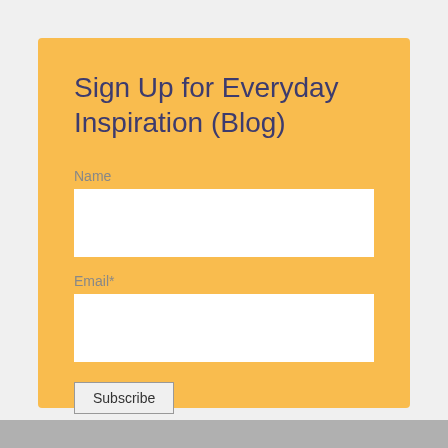Sign Up for Everyday Inspiration (Blog)
Name
Email*
Subscribe